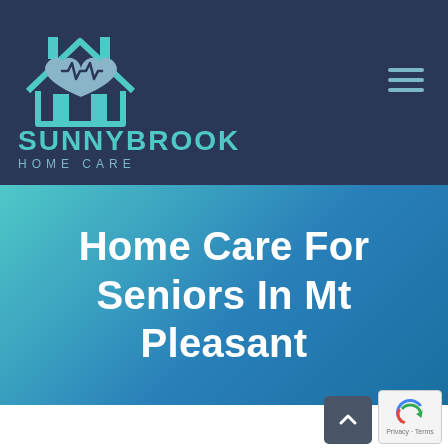[Figure (logo): Sunnybrook Home Care logo with house outline and heart with heartbeat line icon in teal color on dark navy background]
Home Care For Seniors In Mt Pleasant
[Figure (other): Back to top button (caret up arrow) and reCAPTCHA badge with Privacy and Terms links]